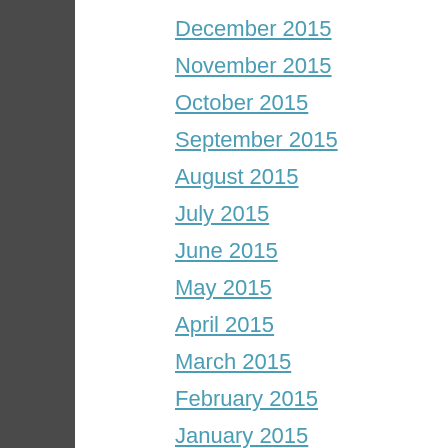December 2015
November 2015
October 2015
September 2015
August 2015
July 2015
June 2015
May 2015
April 2015
March 2015
February 2015
January 2015
December 2014
November 2014
October 2014
September 2014